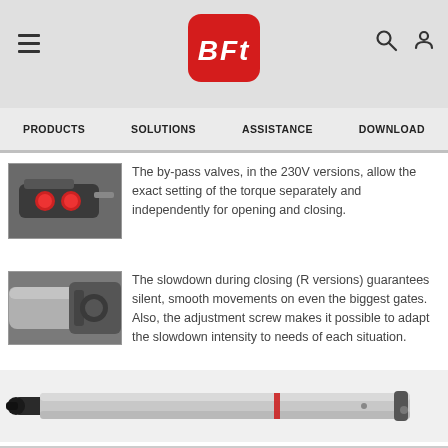BFT - PRODUCTS | SOLUTIONS | ASSISTANCE | DOWNLOAD
[Figure (photo): Remote control device with two red buttons]
The by-pass valves, in the 230V versions, allow the exact setting of the torque separately and independently for opening and closing.
[Figure (photo): Close-up of a metallic actuator cylinder component]
The slowdown during closing (R versions) guarantees silent, smooth movements on even the biggest gates. Also, the adjustment screw makes it possible to adapt the slowdown intensity to needs of each situation.
[Figure (photo): Full-length linear actuator product in silver/grey, horizontal orientation]